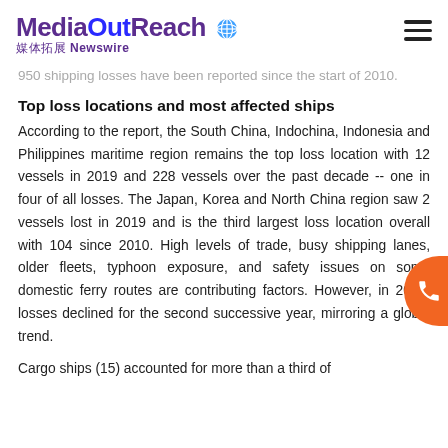MediaOutReach 媒体拓展 Newswire
950 shipping losses have been reported since the start of 2010.
Top loss locations and most affected ships
According to the report, the South China, Indochina, Indonesia and Philippines maritime region remains the top loss location with 12 vessels in 2019 and 228 vessels over the past decade -- one in four of all losses. The Japan, Korea and North China region saw 2 vessels lost in 2019 and is the third largest loss location overall with 104 since 2010. High levels of trade, busy shipping lanes, older fleets, typhoon exposure, and safety issues on some domestic ferry routes are contributing factors. However, in 2019, losses declined for the second successive year, mirroring a global trend.
Cargo ships (15) accounted for more than a third of